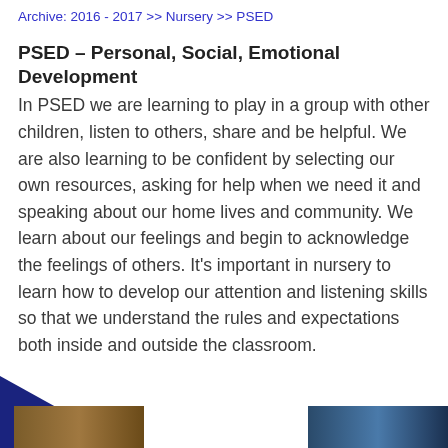Archive: 2016 - 2017 >> Nursery >> PSED
PSED – Personal, Social, Emotional Development
In PSED we are learning to play in a group with other children, listen to others, share and be helpful. We are also learning to be confident by selecting our own resources, asking for help when we need it and speaking about our home lives and community. We learn about our feelings and begin to acknowledge the feelings of others. It's important in nursery to learn how to develop our attention and listening skills so that we understand the rules and expectations both inside and outside the classroom.
[Figure (photo): Bottom left corner photo thumbnail, partially obscured by blue triangle with star badge logo]
[Figure (photo): Bottom right corner photo thumbnail]